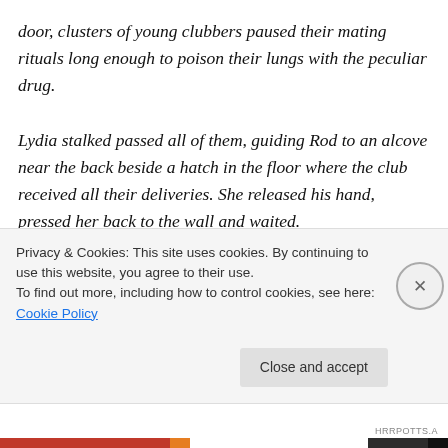door, clusters of young clubbers paused their mating rituals long enough to poison their lungs with the peculiar drug.
Lydia stalked passed all of them, guiding Rod to an alcove near the back beside a hatch in the floor where the club received all their deliveries. She released his hand, pressed her back to the wall and waited.
He quickly understood.
She moaned as Rod's weight pressed against her, as his large hands enveloped her wrists and pressed them to the cool, gritty wall. His knee nudged between her thighs
Privacy & Cookies: This site uses cookies. By continuing to use this website, you agree to their use.
To find out more, including how to control cookies, see here: Cookie Policy
Close and accept